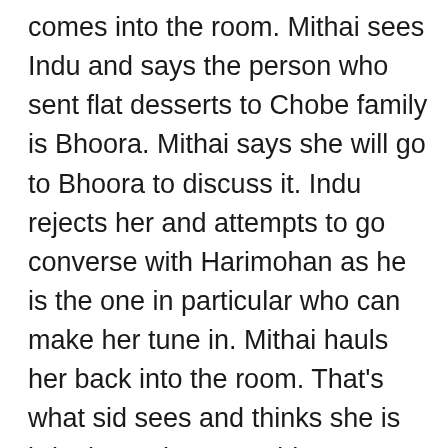comes into the room. Mithai sees Indu and says the person who sent flat desserts to Chobe family is Bhoora. Mithai says she will go to Bhoora to discuss it. Indu rejects her and attempts to go converse with Harimohan as he is the one in particular who can make her tune in. Mithai hauls her back into the room. That’s what sid sees and thinks she is irritating Indu aunt. Sid comes into the room and inquires as to whether Mithai is irritating her. Mithai coincidentally makes the pot fall. Sid reproves her. Mithai says she isn’t the adversary of her mom. Mithai likewise asks she wants to secretly converse with her mom. Sid leaves the room.